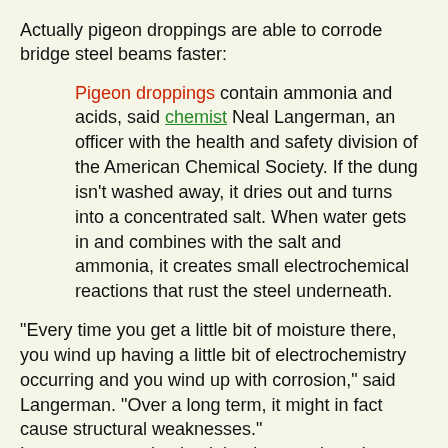Actually pigeon droppings are able to corrode bridge steel beams faster:
Pigeon droppings contain ammonia and acids, said chemist Neal Langerman, an officer with the health and safety division of the American Chemical Society. If the dung isn't washed away, it dries out and turns into a concentrated salt. When water gets in and combines with the salt and ammonia, it creates small electrochemical reactions that rust the steel underneath.
"Every time you get a little bit of moisture there, you wind up having a little bit of electrochemistry occurring and you wind up with corrosion," said Langerman. "Over a long term, it might in fact cause structural weaknesses." Langerman emphasized that he wasn't saying pigeon dung factored into the collapse of the 40-year-old bridge. "Let's let the highway transportation and safety people do their job," he